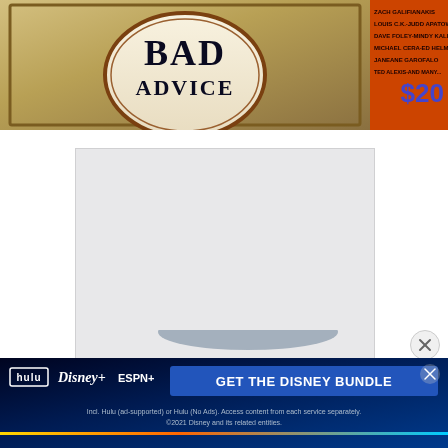[Figure (photo): Book cover showing 'BAD ADVICE' title on a circular badge, orange/red spine with author names including Zach Galifianakis, Louis C.K., Judd Apatow, Dave Foley, Mindy Kaling, Michael Cera, Ed Helms, Janeane Garofalo and others. Price tag of $20 visible.]
$20
[Figure (other): Gray placeholder/loading content box]
[Figure (other): Partial image at bottom of content area, appears to be a blue/gray curved shape]
Report an ad
[Figure (advertisement): Disney Bundle advertisement banner with Hulu, Disney+, and ESPN+ logos and 'GET THE DISNEY BUNDLE' call to action. Fine print: Incl. Hulu (ad-supported) or Hulu (No Ads). Access content from each service separately. ©2021 Disney and its related entities.]